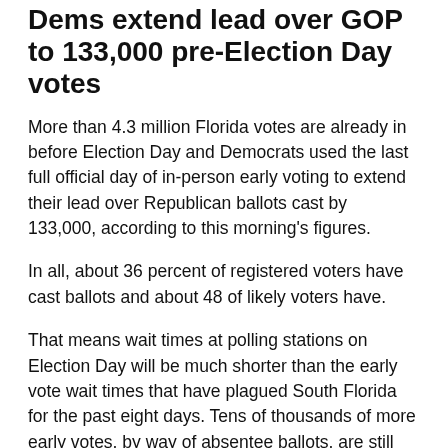Dems extend lead over GOP to 133,000 pre-Election Day votes
More than 4.3 million Florida votes are already in before Election Day and Democrats used the last full official day of in-person early voting to extend their lead over Republican ballots cast by 133,000, according to this morning's figures.
In all, about 36 percent of registered voters have cast ballots and about 48 of likely voters have.
That means wait times at polling stations on Election Day will be much shorter than the early vote wait times that have plagued South Florida for the past eight days. Tens of thousands of more early votes, by way of absentee ballots, are still flowing in and a few thousand (but not tens of thousands) more will come by way of in-person absentee ballots cast at some election supervisors' offices in select counties, such as Miami-Dade (more